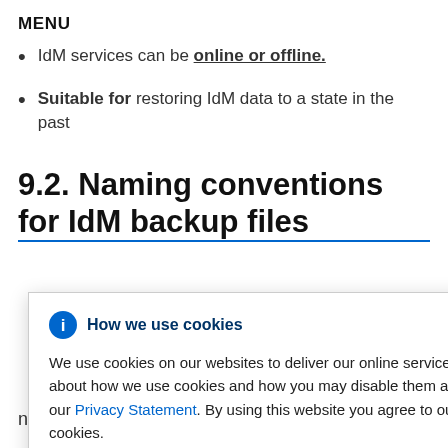MENU
IdM services can be online or offline.
Suitable for restoring IdM data to a state in the past
9.2. Naming conventions for IdM backup files
How we use cookies
We use cookies on our websites to deliver our online services. Details about how we use cookies and how you may disable them are set out in our Privacy Statement. By using this website you agree to our use of cookies.
archives
ackup/
hese naming conventions: